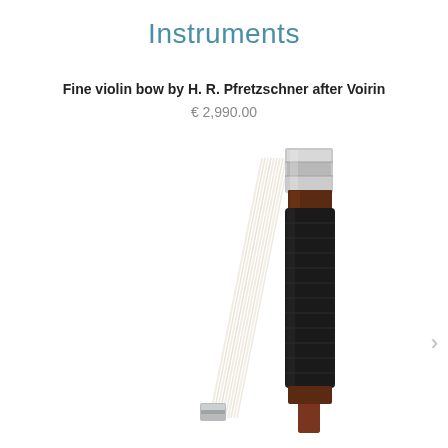Instruments
Fine violin bow by H. R. Pfretzschner after Voirin
€ 2,990.00
[Figure (photo): Close-up photograph of a violin bow showing the bow tip area with white horsehair and the frog/grip section with dark leather wrap and silver-nickel metal parts against a white background.]